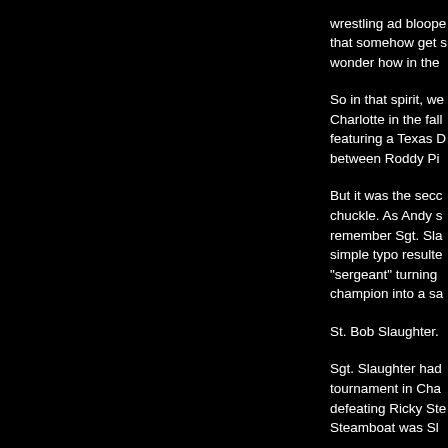wrestling ad bloope that somehow get s wonder how in the
So in that spirit, we Charlotte in the fall featuring a Texas D between Roddy Pi
But it was the secc chuckle. As Andy s remember Sgt. Sla simple typo resulte "sergeant" turning champion into a sa
St. Bob Slaughter.
Sgt. Slaughter had tournament in Cha defeating Ricky Ste Steamboat was Sl